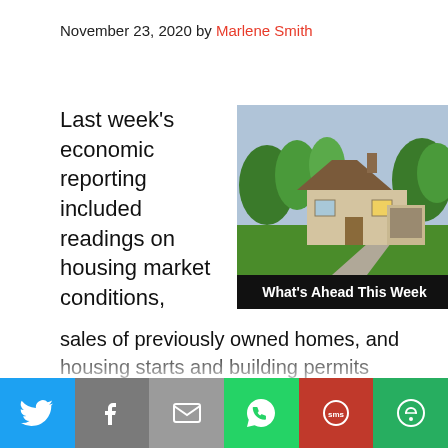November 23, 2020 by Marlene Smith
Last week's economic reporting included readings on housing market conditions,
[Figure (photo): Photo of a stone house with green lawn and a caption bar reading 'What's Ahead This Week']
sales of previously owned homes, and housing starts and building permits issued. Weekly reports on mortgage rates and jobless claims were also released.
Share bar with Twitter, Facebook, Email, WhatsApp, SMS, More icons